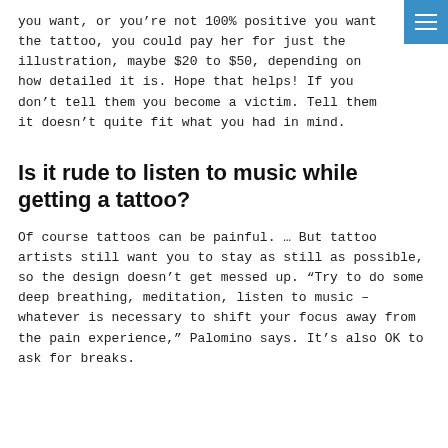you want, or you’re not 100% positive you want the tattoo, you could pay her for just the illustration, maybe $20 to $50, depending on how detailed it is. Hope that helps! If you don’t tell them you become a victim. Tell them it doesn’t quite fit what you had in mind.
Is it rude to listen to music while getting a tattoo?
Of course tattoos can be painful. … But tattoo artists still want you to stay as still as possible, so the design doesn’t get messed up. “Try to do some deep breathing, meditation, listen to music – whatever is necessary to shift your focus away from the pain experience,” Palomino says. It’s also OK to ask for breaks.